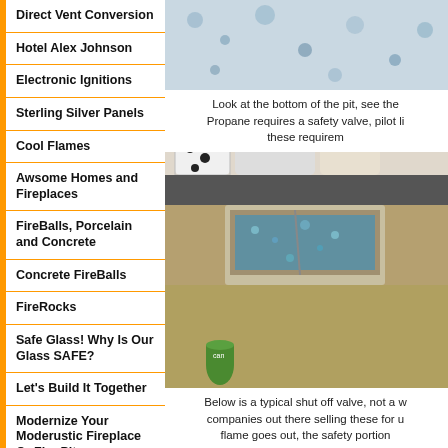Direct Vent Conversion
Hotel Alex Johnson
Electronic Ignitions
Sterling Silver Panels
Cool Flames
Awsome Homes and Fireplaces
FireBalls, Porcelain and Concrete
Concrete FireBalls
FireRocks
Safe Glass! Why Is Our Glass SAFE?
Let's Build It Together
Modernize Your Moderustic Fireplace Or Fire Pit
Various Fire and Water
[Figure (photo): Top photo: decorative surface with blue speckled pattern, partially visible]
Look at the bottom of the pit, see the Propane requires a safety valve, pilot li these requirem
[Figure (photo): Photo of an outdoor fire pit with blue fire glass, concrete surround, cushioned seating, and a green can near the base]
Below is a typical shut off valve, not a w companies out there selling these for u flame goes out, the safety portion